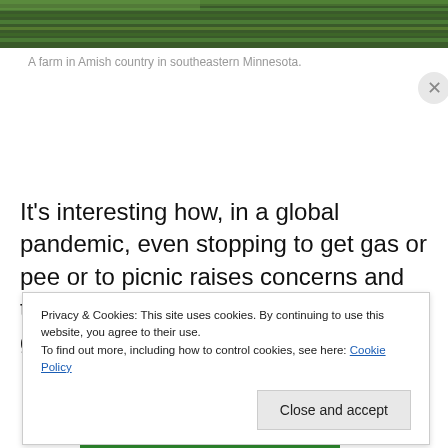[Figure (photo): Top portion of a farm in Amish country in southeastern Minnesota, showing green fields/grass from above.]
A farm in Amish country in southeastern Minnesota.
It's interesting how, in a global pandemic, even stopping to get gas or pee or to picnic raises concerns and takes thought. And care. Masking up, grabbing hand sanitizer,
Privacy & Cookies: This site uses cookies. By continuing to use this website, you agree to their use.
To find out more, including how to control cookies, see here: Cookie Policy
Close and accept